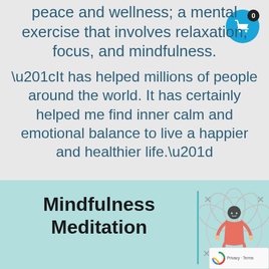peace and wellness; a mental exercise that involves relaxation, focus, and mindfulness.
“It has helped millions of people around the world. It has certainly helped me find inner calm and emotional balance to live a happier and healthier life.”
Mindfulness Meditation
[Figure (illustration): Illustration of a person meditating in a lotus flower pose, with decorative elements around them]